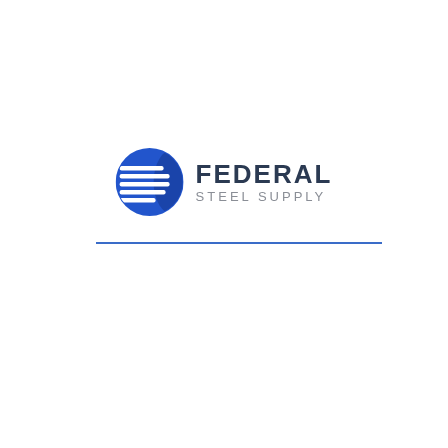[Figure (logo): Federal Steel Supply company logo: blue circle with white horizontal stripes on left, bold dark navy text 'FEDERAL' on top and gray 'STEEL SUPPLY' below on right]